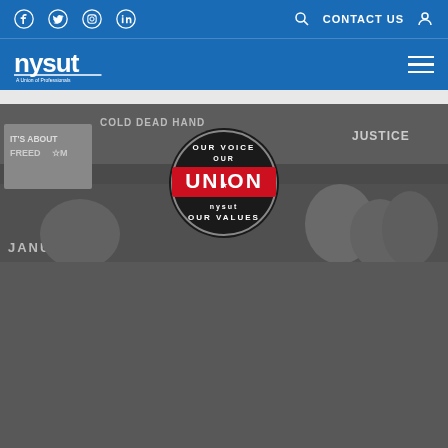NYSUT website header with social icons (Facebook, Twitter, Instagram, LinkedIn), search, CONTACT US, user icon, NYSUT logo, and hamburger menu
[Figure (photo): Black and white protest photo showing people holding signs including 'IT'S ABOUT FREEDOM', 'COLD DEAD HAND', 'JUSTICE', 'JANUS' with an 'OUR VOICE OUR UNION OUR VALUES NYSUT' circular badge in the center]
ABOUT
About Us
Officers & Board of Directors
Regional Offices
Local Websites
Representative Assembly
MEMBERS
Member Guide
Benefits and Services
Member Login
Pre-K-12 Educators
School-Related Professionals